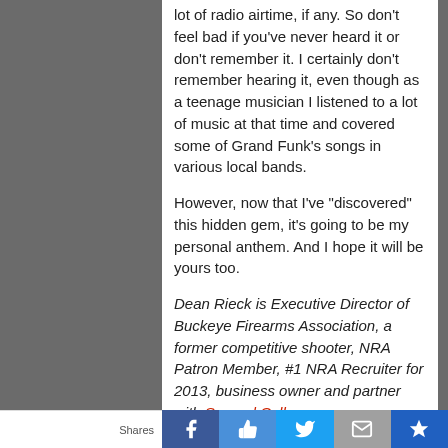lot of radio airtime, if any. So don't feel bad if you've never heard it or don't remember it. I certainly don't remember hearing it, even though as a teenage musician I listened to a lot of music at that time and covered some of Grand Funk's songs in various local bands.
However, now that I've "discovered" this hidden gem, it's going to be my personal anthem. And I hope it will be yours too.
Dean Rieck is Executive Director of Buckeye Firearms Association, a former competitive shooter, NRA Patron Member, #1 NRA Recruiter for 2013, business owner and partner with Second Call
Shares | [Facebook] [Like] [Twitter] [Mail] [Crown]